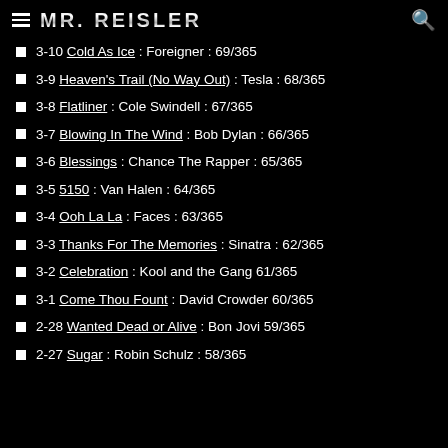MR. REISLER
3-10 Cold As Ice : Foreigner : 69/365
3-9 Heaven's Trail (No Way Out) : Tesla : 68/365
3-8 Flatliner : Cole Swindell : 67/365
3-7 Blowing In The Wind : Bob Dylan : 66/365
3-6 Blessings : Chance The Rapper : 65/365
3-5 5150 : Van Halen : 64/365
3-4 Ooh La La : Faces : 63/365
3-3 Thanks For The Memories : Sinatra : 62/365
3-2 Celebration : Kool and the Gang 61/365
3-1 Come Thou Fount : David Crowder 60/365
2-28 Wanted Dead or Alive : Bon Jovi 59/365
2-27 Sugar : Robin Schulz : 58/365